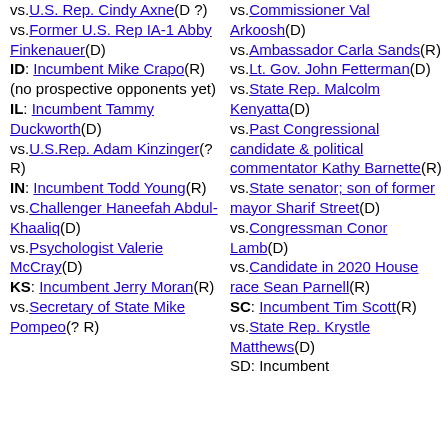vs.U.S. Rep. Cindy Axne(D ?) vs.Former U.S. Rep IA-1 Abby Finkenauer(D) ID: Incumbent Mike Crapo(R) (no prospective opponents yet) IL: Incumbent Tammy Duckworth(D) vs.U.S.Rep. Adam Kinzinger(? R) IN: Incumbent Todd Young(R) vs.Challenger Haneefah Abdul-Khaaliq(D) vs.Psychologist Valerie McCray(D) KS: Incumbent Jerry Moran(R) vs.Secretary of State Mike Pompeo(? R)
vs.Commissioner Val Arkoosh(D) vs.Ambassador Carla Sands(R) vs.Lt. Gov. John Fetterman(D) vs.State Rep. Malcolm Kenyatta(D) vs.Past Congressional candidate & political commentator Kathy Barnette(R) vs.State senator; son of former mayor Sharif Street(D) vs.Congressman Conor Lamb(D) vs.Candidate in 2020 House race Sean Parnell(R) SC: Incumbent Tim Scott(R) vs.State Rep. Krystle Matthews(D) SD: Incumbent